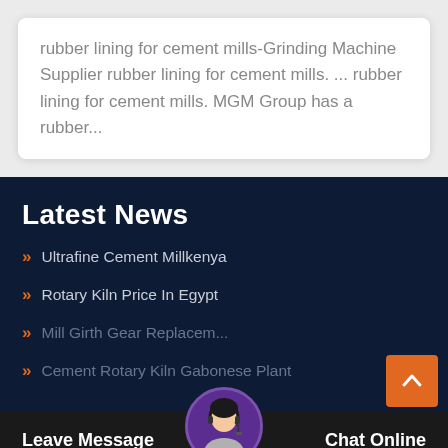rubber lining for cement mills-Grinding Machine Supplier rubber lining for cement mills. ... rubber lining for cement mills. MGM Group has a rubber...
Latest News
Ultrafine Cement Millkenya
Rotary Kiln Price In Egypt
Mill Girth Gear Replacem...
Cement Rotary Kiln Gabonese Plant
Leave Message
Chat Online